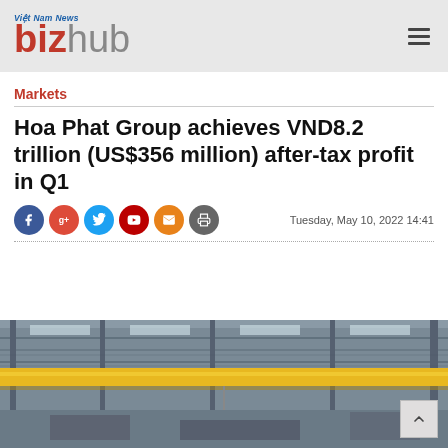Việt Nam News bizhub
Markets
Hoa Phat Group achieves VND8.2 trillion (US$356 million) after-tax profit in Q1
Tuesday, May 10, 2022 14:41
[Figure (photo): Interior of a large industrial warehouse/factory with overhead crane beam in yellow, metal roof structure with skylights, machinery visible in background]